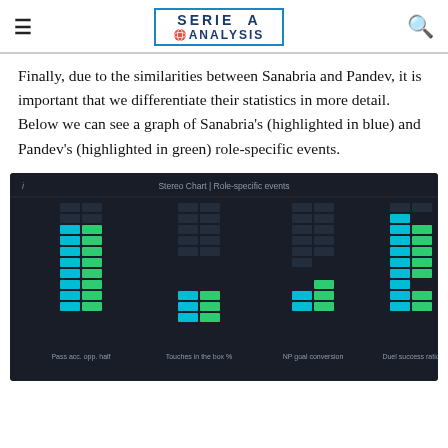SERIE A ANALYSIS
Finally, due to the similarities between Sanabria and Pandev, it is important that we differentiate their statistics in more detail. Below we can see a graph of Sanabria's (highlighted in blue) and Pandev's (highlighted in green) role-specific events.
[Figure (bar-chart): Dark background stacked bar chart comparing Sanabria (blue) and Pandev (green) across four role-specific event categories]